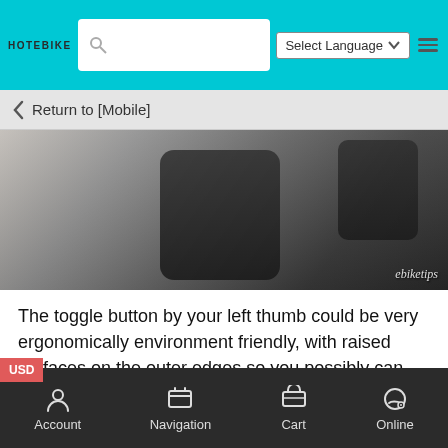HOTEBIKE | Select Language | Search
Return to [Mobile]
[Figure (photo): Close-up photo of e-bike handlebar area showing phone mount and components, with ebiketips watermark in bottom right]
The toggle button by your left thumb could be very ergonomically environment friendly, with raised surfaces on the outer edges so you possibly can simply press the button when wanted shortly and precisely, even with gloves on.
[Figure (photo): Photo of e-bike cockpit area showing Shimano display unit showing 10:15 on a pavement/brick background]